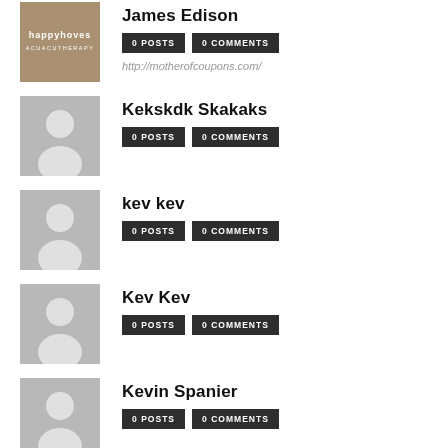[Figure (illustration): Happy Hoves logo - brown/tan background with logo text]
James Edison
0 POSTS
0 COMMENTS
http://motherofcoupons.com/
[Figure (illustration): Generic user placeholder avatar - gray background with white silhouette]
Kekskdk Skakaks
0 POSTS
0 COMMENTS
[Figure (illustration): Generic user placeholder avatar - gray background with white silhouette]
kev kev
0 POSTS
0 COMMENTS
[Figure (illustration): Generic user placeholder avatar - gray background with white silhouette]
Kev Kev
0 POSTS
0 COMMENTS
[Figure (illustration): Generic user placeholder avatar - gray background with white silhouette]
Kevin Spanier
0 POSTS
0 COMMENTS
[Figure (illustration): Generic user placeholder avatar - gray background with white silhouette]
Lol Toll